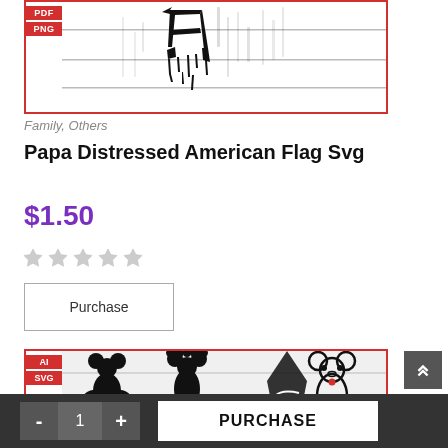[Figure (screenshot): Product preview image of Papa Distressed American Flag SVG with PDF and PNG badges on red border frame]
Family, Others
Papa Distressed American Flag Svg
$1.50
[Figure (other): Five empty star rating icons]
Purchase
[Figure (screenshot): Second product preview image showing Mickey Mouse silhouettes with AI and SVG badges on red border frame]
- 1 +  PURCHASE